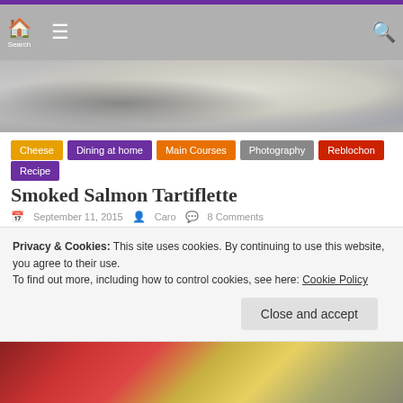Navigation header with home, menu, and search icons
[Figure (photo): Close-up photo of a dish, showing a creamy white plate with decorative elements, partial dark background]
Cheese
Dining at home
Main Courses
Photography
Reblochon
Recipe
Smoked Salmon Tartiflette
September 11, 2015   Caro   8 Comments
The tartiflette can be found in many guises as chefs in the Rhone-Alps region find ways of making a ‘fusion’
Privacy & Cookies: This site uses cookies. By continuing to use this website, you agree to their use.
To find out more, including how to control cookies, see here: Cookie Policy
[Figure (photo): Bottom portion of a food photo showing colorful ingredients]